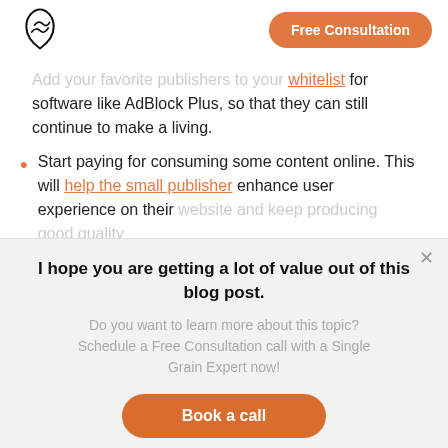Single Grain logo | Free Consultation button
Add your favorite publishers to your whitelist for software like AdBlock Plus, so that they can still continue to make a living.
Start paying for consuming some content online. This will help the small publisher enhance user experience on their website and keep producing good quality
I hope you are getting a lot of value out of this blog post.
Do you want to learn more about this topic? Schedule a Free Consultation call with a Single Grain Expert now!
Book a call